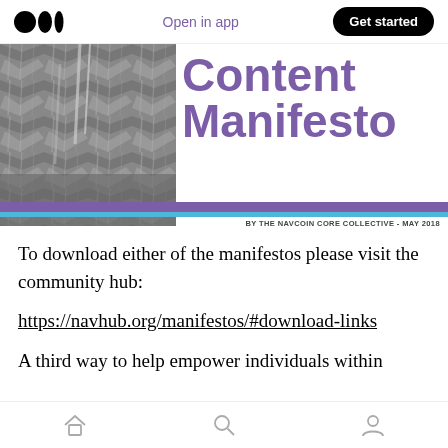Open in app | Get started
[Figure (screenshot): Medium app header with logo, 'Open in app' link, and 'Get started' button]
Content Manifesto
BY THE NAVCOIN CORE COLLECTIVE - MAY 2018
To download either of the manifestos please visit the community hub:
https://navhub.org/manifestos/#download-links
A third way to help empower individuals within
Home | Search | Profile